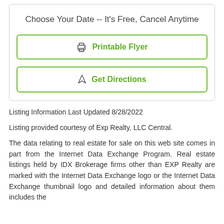Choose Your Date -- It's Free, Cancel Anytime
Printable Flyer
Get Directions
Listing Information Last Updated 8/28/2022
Listing provided courtesy of Exp Realty, LLC Central.
The data relating to real estate for sale on this web site comes in part from the Internet Data Exchange Program. Real estate listings held by IDX Brokerage firms other than EXP Realty are marked with the Internet Data Exchange logo or the Internet Data Exchange thumbnail logo and detailed information about them includes the